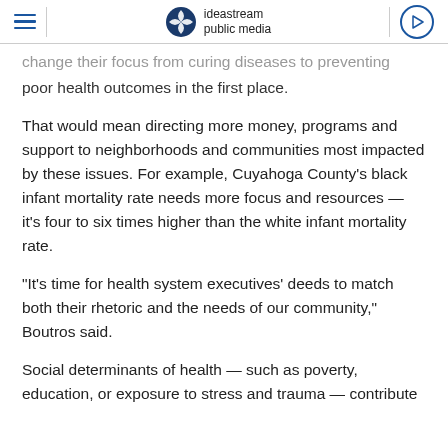ideastream public media
change their focus from curing diseases to preventing poor health outcomes in the first place.
That would mean directing more money, programs and support to neighborhoods and communities most impacted by these issues. For example, Cuyahoga County's black infant mortality rate needs more focus and resources — it's four to six times higher than the white infant mortality rate.
"It's time for health system executives' deeds to match both their rhetoric and the needs of our community," Boutros said.
Social determinants of health — such as poverty, education, or exposure to stress and trauma — contribute